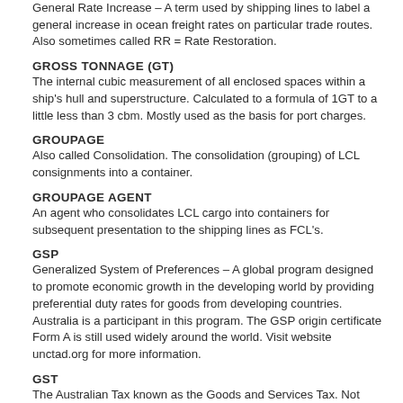General Rate Increase – A term used by shipping lines to label a general increase in ocean freight rates on particular trade routes. Also sometimes called RR = Rate Restoration.
GROSS TONNAGE (GT)
The internal cubic measurement of all enclosed spaces within a ship's hull and superstructure. Calculated to a formula of 1GT to a little less than 3 cbm. Mostly used as the basis for port charges.
GROUPAGE
Also called Consolidation. The consolidation (grouping) of LCL consignments into a container.
GROUPAGE AGENT
An agent who consolidates LCL cargo into containers for subsequent presentation to the shipping lines as FCL's.
GSP
Generalized System of Preferences – A global program designed to promote economic growth in the developing world by providing preferential duty rates for goods from developing countries. Australia is a participant in this program. The GSP origin certificate Form A is still used widely around the world. Visit website unctad.org for more information.
GST
The Australian Tax known as the Goods and Services Tax. Not applicable to export goods, but is payable on